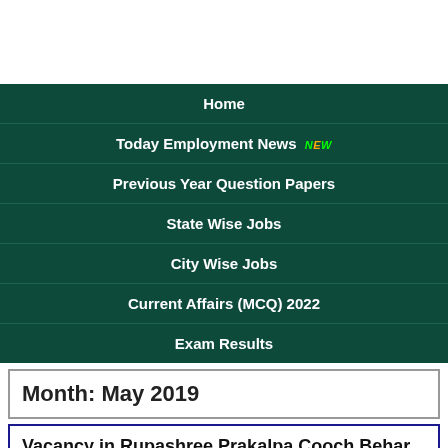[Figure (screenshot): White top area of a mobile website screenshot]
Home
Today Employment News NEW
Previous Year Question Papers
State Wise Jobs
City Wise Jobs
Current Affairs (MCQ) 2022
Exam Results
Month: May 2019
Vacancy in Rupashree Prakalpa Cooch Behar